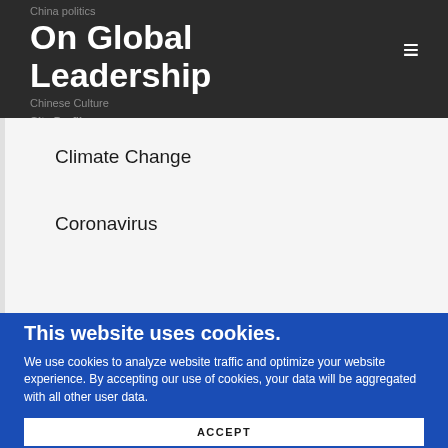China politics
On Global Leadership
Chinese Culture
City Profile
Climate Change
Coronavirus
This website uses cookies.
We use cookies to analyze website traffic and optimize your website experience. By accepting our use of cookies, your data will be aggregated with all other user data.
ACCEPT